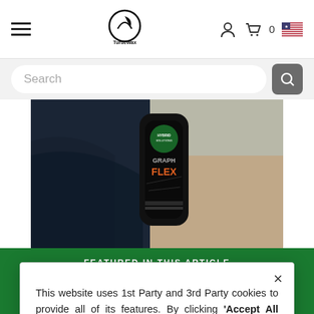Turtle Wax website header with hamburger menu, logo, account icon, cart (0), and US flag icon
[Figure (screenshot): Search bar with placeholder text 'Search' and a grey search button icon]
[Figure (photo): Close-up photo of a dark Turtle Wax Hybrid Solutions Graphene Flex product bottle held against a dark car surface]
FEATURED IN THIS ARTICLE
This website uses 1st Party and 3rd Party cookies to provide all of its features. By clicking 'Accept All Cookies', you are agreeing to our use of cookies. For more information on our cookie policy, please click here.
Cookies Settings
ACCEPT ALL COOKIES